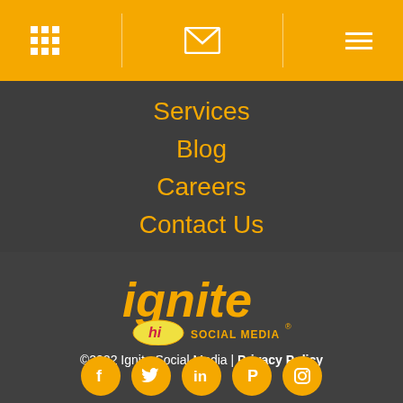[Navigation bar with grid icon, envelope icon, hamburger menu icon]
Services
Blog
Careers
Contact Us
[Figure (logo): Ignite Social Media logo in orange and yellow with 'hi' speech bubble]
©2022 Ignite Social Media | Privacy Policy
[Figure (infographic): Row of 5 social media icon circles (Facebook, Twitter, LinkedIn, Pinterest, Instagram) in orange]